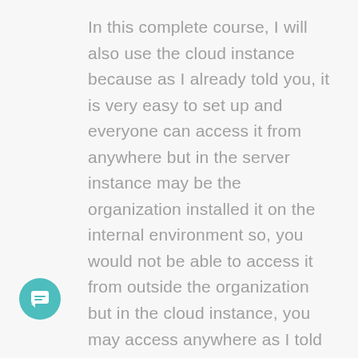In this complete course, I will also use the cloud instance because as I already told you, it is very easy to set up and everyone can access it from anywhere but in the server instance may be the organization installed it on the internal environment so, you would not be able to access it from outside the organization but in the cloud instance, you may access anywhere as I told you I will explain the cloud version in this course so may be the people who are using the server one they will see some differences in the UI because the cloud and the server UI is different in the server we have the navigation on the top but in the cloud we have the navigation in the left hand side and many more other differences in the UI so as I told you the difference between the cloud and the server...
[Figure (other): Teal circular chat/message button in the bottom-left corner]